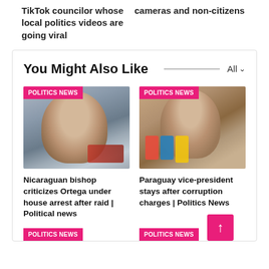TikTok councilor whose local politics videos are going viral
cameras and non-citizens
You Might Also Like
[Figure (photo): Man at press conference with microphones, POLITICS NEWS badge]
Nicaraguan bishop criticizes Ortega under house arrest after raid | Political news
[Figure (photo): Man speaking at press conference with multiple colorful microphones, POLITICS NEWS badge]
Paraguay vice-president stays after corruption charges | Politics News
POLITICS NEWS
POLITICS NEWS